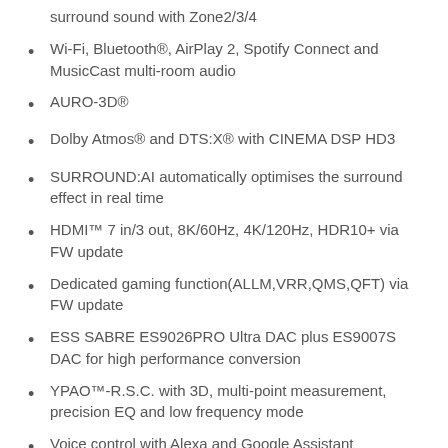surround sound with Zone2/3/4
Wi-Fi, Bluetooth®, AirPlay 2, Spotify Connect and MusicCast multi-room audio
AURO-3D®
Dolby Atmos® and DTS:X® with CINEMA DSP HD3
SURROUND:AI automatically optimises the surround effect in real time
HDMI™ 7 in/3 out, 8K/60Hz, 4K/120Hz, HDR10+ via FW update
Dedicated gaming function(ALLM,VRR,QMS,QFT) via FW update
ESS SABRE ES9026PRO Ultra DAC plus ES9007S DAC for high performance conversion
YPAO™-R.S.C. with 3D, multi-point measurement, precision EQ and low frequency mode
Voice control with Alexa and Google Assistant